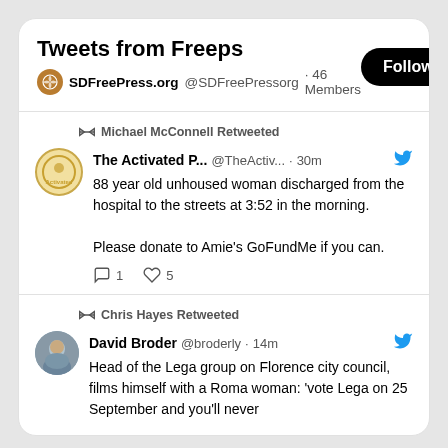Tweets from Freeps
SDFreePress.org @SDFreePressorg · 46 Members
Michael McConnell Retweeted
The Activated P... @TheActiv... · 30m
88 year old unhoused woman discharged from the hospital to the streets at 3:52 in the morning.

Please donate to Amie's GoFundMe if you can.
1  5
Chris Hayes Retweeted
David Broder @broderly · 14m
Head of the Lega group on Florence city council, films himself with a Roma woman: 'vote Lega on 25 September and you'll never